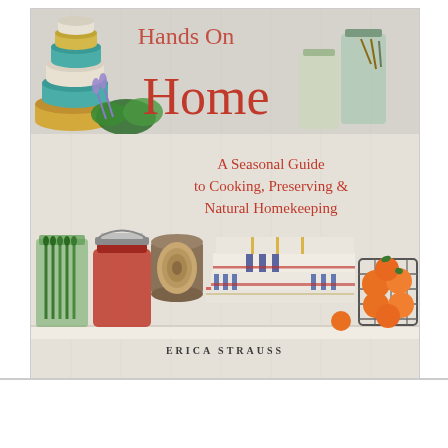[Figure (photo): Book cover for a home cookbook/guide. Top section shows stacked colorful ceramic bowls on the left, fresh herbs and greens in the center-left, and glass jars on the right shelf, against a white wood-panel background. Partial handwritten-style title text visible at top reading 'Hands On Home'. Bottom section shows a white-paneled shelf with: a jar of pickled asparagus, a red clamp-lid mason jar, a large spool of twine, a stack of striped kitchen towels (blue, red, and yellow stripes), and a wire basket of mandarin oranges on the right. Subtitle text in red handwritten script reads: 'A Seasonal Guide to Cooking, Preserving & Natural Homekeeping'. Author name in small spaced caps: 'ERICA STRAUSS'.]